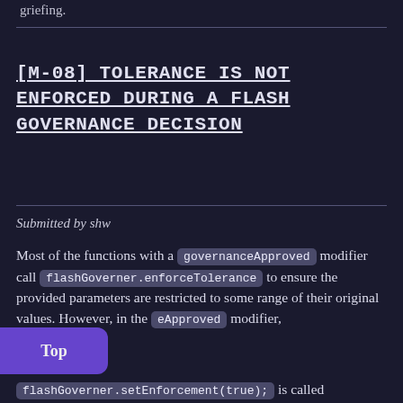griefing.
[M-08] TOLERANCE IS NOT ENFORCED DURING A FLASH GOVERNANCE DECISION
Submitted by shw
Most of the functions with a governanceApproved modifier call flashGoverner.enforceTolerance to ensure the provided parameters are restricted to some range of their original values. However, in the [governanceApproved] modifier, flashGoverner.setEnforcement(true); is called